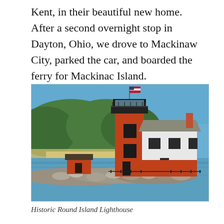Kent, in their beautiful new home.  After a second overnight stop in Dayton, Ohio, we drove to Mackinaw City, parked the car, and boarded the ferry for Mackinac Island.
[Figure (photo): A photograph of the Historic Round Island Lighthouse — a red-and-white lighthouse with a tall cylindrical red tower topped by a black lantern room and a flagpole flying an American flag, attached to a white keeper's house with a gray shingled roof. A small red outbuilding sits to the left on a rocky breakwater. Green tree-covered hills and a sandy beach appear in the background under a clear blue sky, with calm blue water in the foreground.]
Historic Round Island Lighthouse